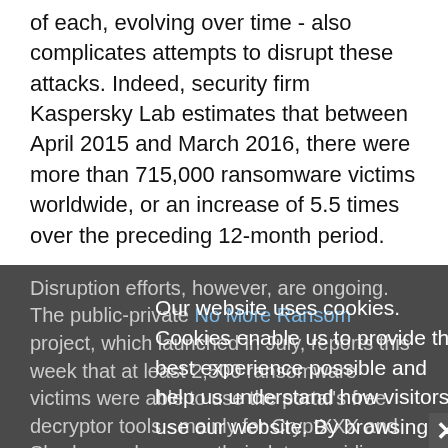of each, evolving over time - also complicates attempts to disrupt these attacks. Indeed, security firm Kaspersky Lab estimates that between April 2015 and March 2016, there were more than 715,000 ransomware victims worldwide, or an increase of 5.5 times over the preceding 12-month period.
Disruption efforts, however, are ongoing. The public-private No More Ransom project, which launched in July, reports this week that at least 2,500 ransomware victims were able to use the portal's free decryptor tools - mainly for CryptXXX and Shade - and recover their data, avoiding paying more than $1 million in ransoms, project organizers say. But that amounts to just 0.35 percent of the total number of ransomware victims seen from April 2015 to March of this year.
No More Ransom launched as a joint venture between the
Our website uses cookies. Cookies enable us to provide the best experience possible and help us understand how visitors use our website. By browsing bankinfosecurity.com, you agree to our use of cookies.